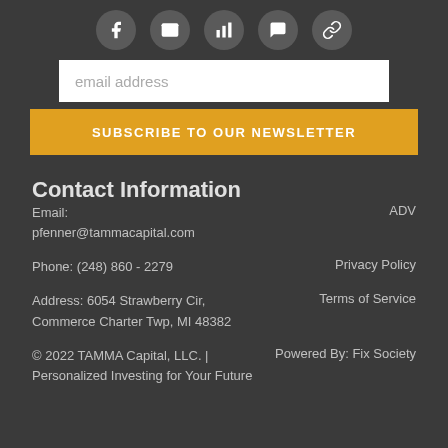[Figure (other): Row of five social media icon circles (Facebook, envelope/email, bar chart, envelope variant, another icon) in gray circles]
email address
SUBSCRIBE TO OUR NEWSLETTER
Contact Information
Email:
pfenner@tammacapital.com
ADV
Phone: (248) 860 - 2279
Privacy Policy
Address: 6054 Strawberry Cir,
Commerce Charter Twp, MI 48382
Terms of Service
© 2022 TAMMA Capital, LLC. |
Personalized Investing for Your Future
Powered By: Fix Society